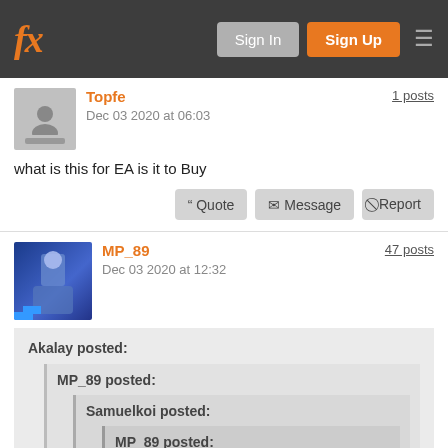fx — Sign In | Sign Up
Topfe
Dec 03 2020 at 06:03
1 posts
what is this for EA is it to Buy
" Quote  ✉ Message  ⊘ Report
MP_89
Dec 03 2020 at 12:32
47 posts
Akalay posted:
  MP_89 posted:
    Samuelkoi posted:
      MP_89 posted:
        i think trade with ea helps the beginners better understand the market. and it's quite good trading experience.